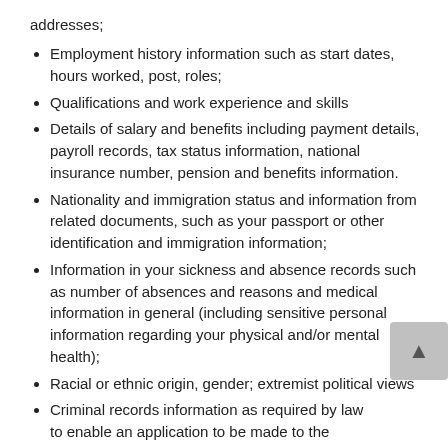addresses;
Employment history information such as start dates, hours worked, post, roles;
Qualifications and work experience and skills
Details of salary and benefits including payment details, payroll records, tax status information, national insurance number, pension and benefits information.
Nationality and immigration status and information from related documents, such as your passport or other identification and immigration information;
Information in your sickness and absence records such as number of absences and reasons and medical information in general (including sensitive personal information regarding your physical and/or mental health);
Racial or ethnic origin, gender; extremist political views
Criminal records information as required by law to enable an application to be made to the Home Office and to comply with employment requirements
What is Your Reason for